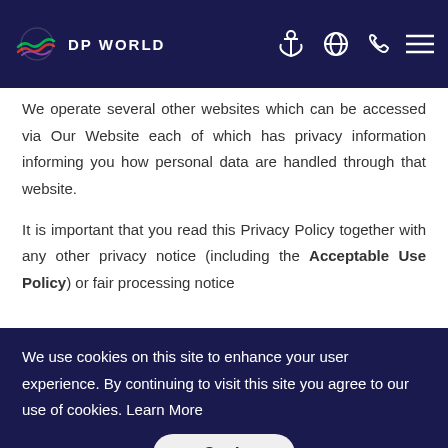DP WORLD
We operate several other websites which can be accessed via Our Website each of which has privacy information informing you how personal data are handled through that website.
It is important that you read this Privacy Policy together with any other privacy notice (including the Acceptable Use Policy) or fair processing notice
We use cookies on this site to enhance your user experience. By continuing to visit this site you agree to our use of cookies. Learn More
Got It